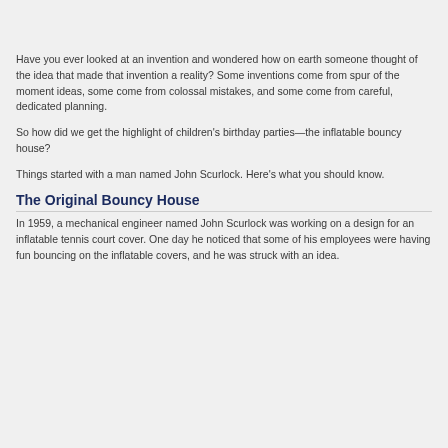Have you ever looked at an invention and wondered how on earth someone thought of the idea that made that invention a reality? Some inventions come from spur of the moment ideas, some come from colossal mistakes, and some come from careful, dedicated planning.
So how did we get the highlight of children's birthday parties—the inflatable bouncy house?
Things started with a man named John Scurlock. Here's what you should know.
The Original Bouncy House
In 1959, a mechanical engineer named John Scurlock was working on a design for an inflatable tennis court cover. One day he noticed that some of his employees were having fun bouncing on the inflatable covers, and he was struck with an idea.